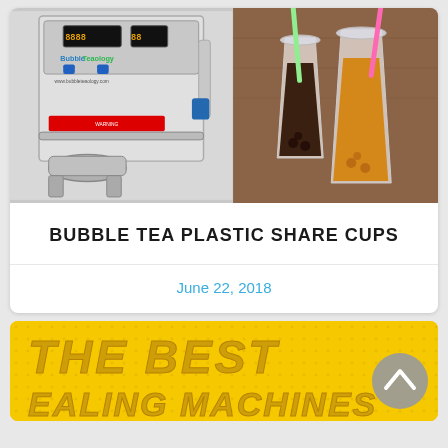[Figure (photo): Left half: Bubble Teaology cup sealing machine (silver/stainless steel with digital display panel and blue elements). Right half: Two bubble tea drinks in clear plastic cups with colored straws (green and pink) on a wooden surface.]
BUBBLE TEA PLASTIC SHARE CUPS
June 22, 2018
[Figure (photo): Yellow banner image with text 'THE BEST' and partially visible '...EALING MACHINES' in bold italic stylized font on a yellow/gold background with dotted pattern.]